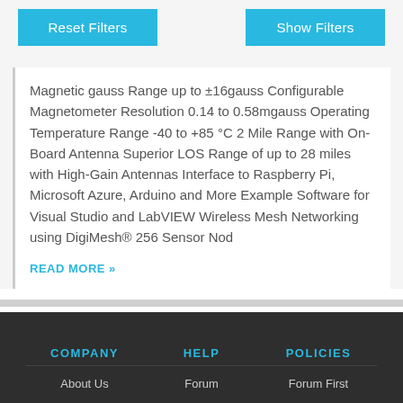Reset Filters
Show Filters
Magnetic gauss Range up to ±16gauss Configurable Magnetometer Resolution 0.14 to 0.58mgauss Operating Temperature Range -40 to +85 °C 2 Mile Range with On-Board Antenna Superior LOS Range of up to 28 miles with High-Gain Antennas Interface to Raspberry Pi, Microsoft Azure, Arduino and More Example Software for Visual Studio and LabVIEW Wireless Mesh Networking using DigiMesh® 256 Sensor Nod
READ MORE »
COMPANY
HELP
POLICIES
About Us
Forum
Forum First